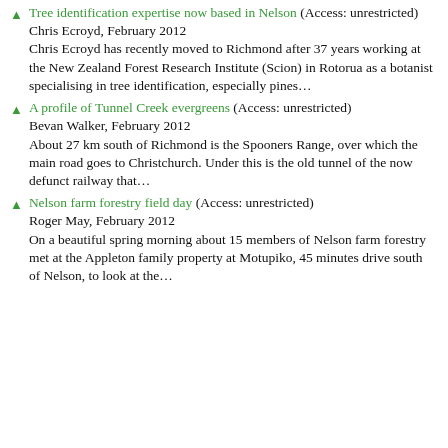Tree identification expertise now based in Nelson (Access: unrestricted)
Chris Ecroyd, February 2012
Chris Ecroyd has recently moved to Richmond after 37 years working at the New Zealand Forest Research Institute (Scion) in Rotorua as a botanist specialising in tree identification, especially pines…
A profile of Tunnel Creek evergreens (Access: unrestricted)
Bevan Walker, February 2012
About 27 km south of Richmond is the Spooners Range, over which the main road goes to Christchurch. Under this is the old tunnel of the now defunct railway that…
Nelson farm forestry field day (Access: unrestricted)
Roger May, February 2012
On a beautiful spring morning about 15 members of Nelson farm forestry met at the Appleton family property at Motupiko, 45 minutes drive south of Nelson, to look at the…